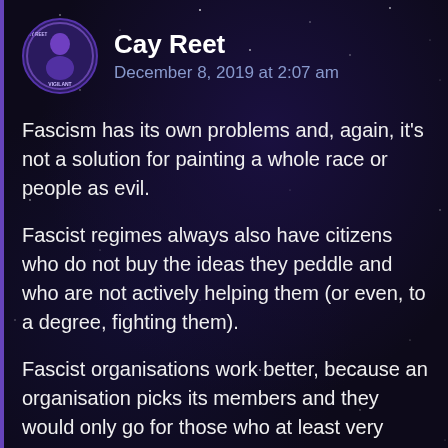Cay Reet — December 8, 2019 at 2:07 am
Fascism has its own problems and, again, it's not a solution for painting a whole race or people as evil.
Fascist regimes always also have citizens who do not buy the ideas they peddle and who are not actively helping them (or even, to a degree, fighting them).
Fascist organisations work better, because an organisation picks its members and they would only go for those who at least very successfully